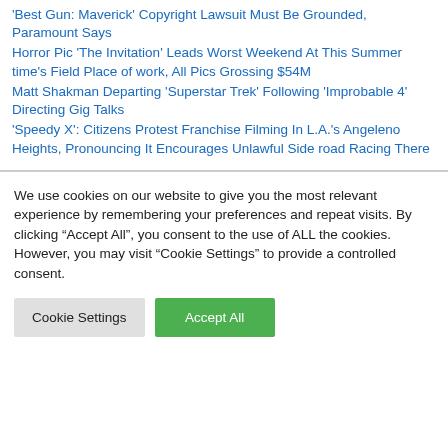'Best Gun: Maverick' Copyright Lawsuit Must Be Grounded, Paramount Says
Horror Pic 'The Invitation' Leads Worst Weekend At This Summer time's Field Place of work, All Pics Grossing $54M
Matt Shakman Departing 'Superstar Trek' Following 'Improbable 4' Directing Gig Talks
'Speedy X': Citizens Protest Franchise Filming In L.A.'s Angeleno Heights, Pronouncing It Encourages Unlawful Side road Racing There
We use cookies on our website to give you the most relevant experience by remembering your preferences and repeat visits. By clicking “Accept All”, you consent to the use of ALL the cookies. However, you may visit "Cookie Settings" to provide a controlled consent.
Cookie Settings | Accept All